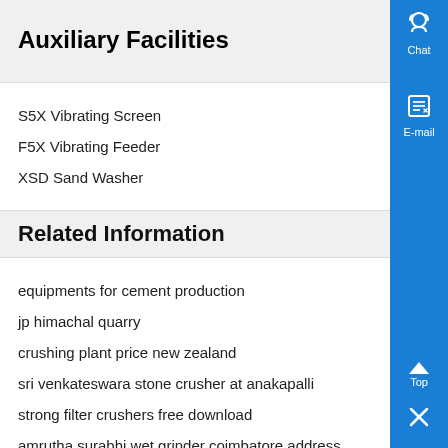Auxiliary Facilities
S5X Vibrating Screen
F5X Vibrating Feeder
XSD Sand Washer
Related Information
equipments for cement production
jp himachal quarry
crushing plant price new zealand
sri venkateswara stone crusher at anakapalli
strong filter crushers free download
amrutha surabhi wet grinder coimbatore address